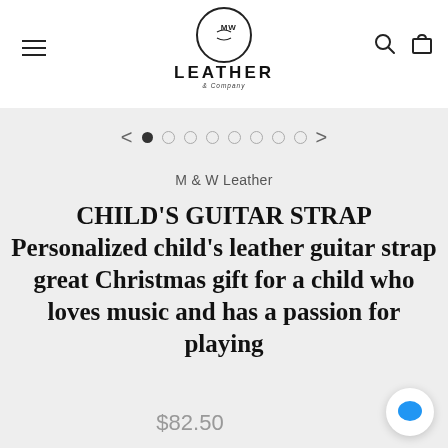[Figure (logo): M & W Leather company logo with circle emblem and bold LEATHER text]
[Figure (infographic): Carousel dot navigation with left/right arrows and 8 dots, first dot active]
M & W Leather
CHILD'S GUITAR STRAP Personalized child's leather guitar strap great Christmas gift for a child who loves music and has a passion for playing
$82.50